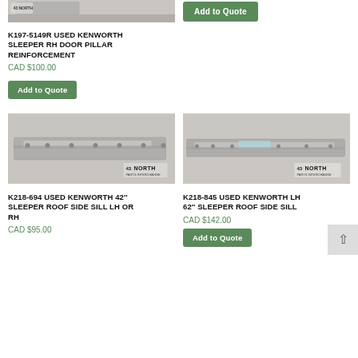[Figure (photo): Partial top view of a used Kenworth sleeper door pillar reinforcement part, with 43 North logo watermark]
[Figure (other): Green 'Add to Quote' button for upper right product]
K197-5149R USED KENWORTH SLEEPER RH DOOR PILLAR REINFORCEMENT
CAD $100.00
Add to Quote
[Figure (photo): Used Kenworth 42 inch sleeper roof side sill LH or RH metal part with 43 North logo]
[Figure (photo): Used Kenworth LH 62 inch sleeper roof side sill metal part with 43 North logo]
K218-694 USED KENWORTH 42″ SLEEPER ROOF SIDE SILL LH OR RH
CAD $95.00
K218-845 USED KENWORTH LH 62″ SLEEPER ROOF SIDE SILL
CAD $142.00
Add to Quote